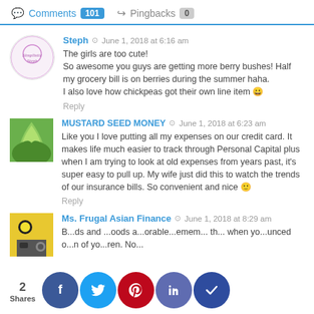Comments 101   Pingbacks 0
Steph  June 1, 2018 at 6:16 am
The girls are too cute!
So awesome you guys are getting more berry bushes! Half my grocery bill is on berries during the summer haha.
I also love how chickpeas got their own line item 😀
Reply
MUSTARD SEED MONEY  June 1, 2018 at 6:23 am
Like you I love putting all my expenses on our credit card. It makes life much easier to track through Personal Capital plus when I am trying to look at old expenses from years past, it's super easy to pull up. My wife just did this to watch the trends of our insurance bills. So convenient and nice 🙂
Reply
Ms. Frugal Asian Finance  June 1, 2018 at 8:29 am
B...ds and ...oods a...orable...emem... th... when yo...unced o...n of yo...ren. No...